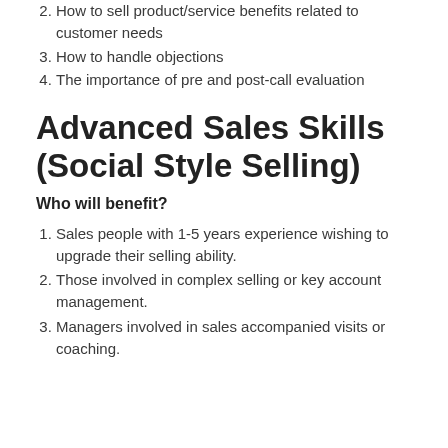How to sell product/service benefits related to customer needs
How to handle objections
The importance of pre and post-call evaluation
Advanced Sales Skills (Social Style Selling)
Who will benefit?
Sales people with 1-5 years experience wishing to upgrade their selling ability.
Those involved in complex selling or key account management.
Managers involved in sales accompanied visits or coaching.